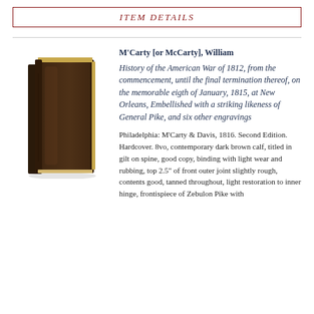ITEM DETAILS
[Figure (photo): A small antique hardcover book with dark brown calf leather binding, standing upright, photographed against a white background.]
M'Carty [or McCarty], William
History of the American War of 1812, from the commencement, until the final termination thereof, on the memorable eigth of January, 1815, at New Orleans, Embellished with a striking likeness of General Pike, and six other engravings
Philadelphia: M'Carty & Davis, 1816. Second Edition. Hardcover. 8vo, contemporary dark brown calf, titled in gilt on spine, good copy, binding with light wear and rubbing, top 2.5" of front outer joint slightly rough, contents good, tanned throughout, light restoration to inner hinge, frontispiece of Zebulon Pike with